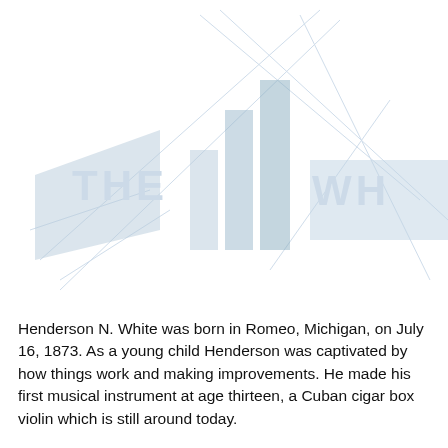[Figure (logo): Faint watermark logo reading 'THE N WH' with stylized bar chart shapes and diagonal lines, in light blue-gray on white background]
Henderson N. White was born in Romeo, Michigan, on July 16, 1873. As a young child Henderson was captivated by how things work and making improvements. He made his first musical instrument at age thirteen, a Cuban cigar box violin which is still around today.